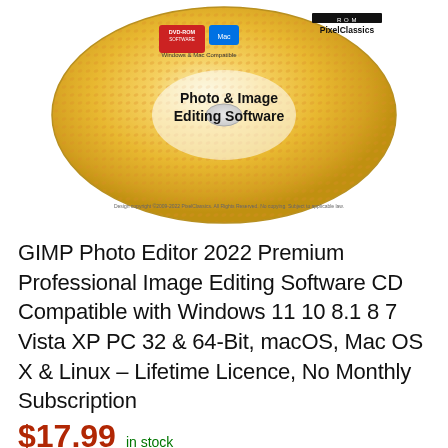[Figure (photo): A gold/yellow DVD-ROM disc showing 'Photo & Image Editing Software' text in bold, with DVD-ROM Software logo and Mac logo at top, PixelClassics branding, and 'Windows & Mac Compatible' text. The disc has a holographic/patterned appearance.]
GIMP Photo Editor 2022 Premium Professional Image Editing Software CD Compatible with Windows 11 10 8.1 8 7 Vista XP PC 32 & 64-Bit, macOS, Mac OS X & Linux – Lifetime Licence, No Monthly Subscription
$17.99 in stock